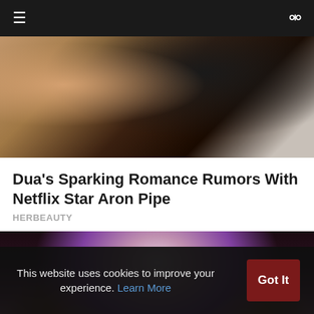≡  🔍
[Figure (photo): Close-up photo of a person's neck and collarbone area, hand holding something small with a gold ring visible, dark hair, partial view]
Dua's Sparking Romance Rumors With Netflix Star Aron Pipe
HERBEAUTY
[Figure (photo): Portrait of a Black woman model with long purple/dark-colored hair styled in pigtails with pink/purple flower accessories, wearing a pink outfit, against a dark background. She has defined makeup with dramatic eye makeup.]
This website uses cookies to improve your experience. Learn More